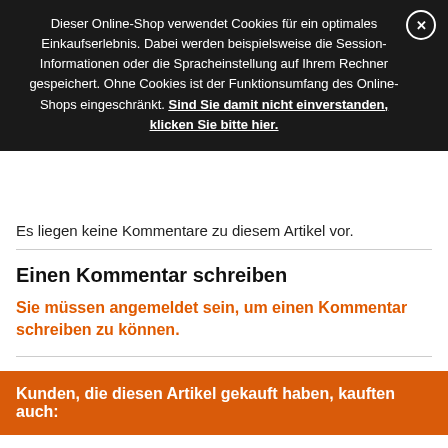Dieser Online-Shop verwendet Cookies für ein optimales Einkaufserlebnis. Dabei werden beispielsweise die Session-Informationen oder die Spracheinstellung auf Ihrem Rechner gespeichert. Ohne Cookies ist der Funktionsumfang des Online-Shops eingeschränkt. Sind Sie damit nicht einverstanden, klicken Sie bitte hier.
Es liegen keine Kommentare zu diesem Artikel vor.
Einen Kommentar schreiben
Sie müssen angemeldet sein, um einen Kommentar schreiben zu können.
Kunden, die diesen Artikel gekauft haben, kauften auch:
Fred "Live At The Bitter End" CD
[Figure (photo): Album cover image for Fred Live At The Bitter End CD, showing a map background with the Fred logo and cartoon characters]